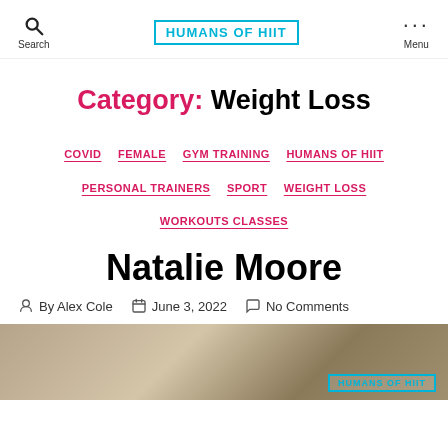HUMANS OF HIIT
Category: Weight Loss
COVID  FEMALE  GYM TRAINING  HUMANS OF HIIT  PERSONAL TRAINERS  SPORT  WEIGHT LOSS  WORKOUTS CLASSES
Natalie Moore
By Alex Cole   June 3, 2022   No Comments
[Figure (photo): Thumbnail photo for the Natalie Moore article with Humans of HIIT logo overlay]